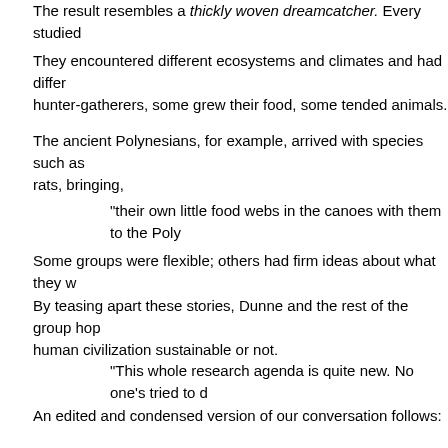The result resembles a thickly woven dreamcatcher. Every studied...
They encountered different ecosystems and climates and had differ... hunter-gatherers, some grew their food, some tended animals.
The ancient Polynesians, for example, arrived with species such as... rats, bringing,
"their own little food webs in the canoes with them to the Poly...
Some groups were flexible; others had firm ideas about what they w...
By teasing apart these stories, Dunne and the rest of the group hop... human civilization sustainable or not.
"This whole research agenda is quite new. No one's tried to d...
An edited and condensed version of our conversation follows:
When you build a food web, does it only entail figur... that's in a place and then connecting the dots betwe...
At its simplest, that is exactly what a food web is.
Get as detailed a species list as you can, and then figure out... that list. That was the ia...